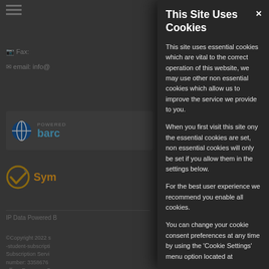[Figure (screenshot): Background website content showing hamburger menu icon, Fax and email contact info, Barclays payment logo, Symantec security logo, IP Data section, and copyright footer text, all dimmed/grayed out behind a cookie consent modal overlay]
This Site Uses Cookies
This site uses essential cookies which are vital to the correct operation of this website, we may use other non essential cookies which allow us to improve the service we provide to you.
When you first visit this site ony the essential cookies are set, non essential cookies will only be set if you allow them in the settings below.
For the best user experience we recommend you enable all cookies.
You can change your cookie consent preferences at any time by using the 'Cookie Settings' menu option located at